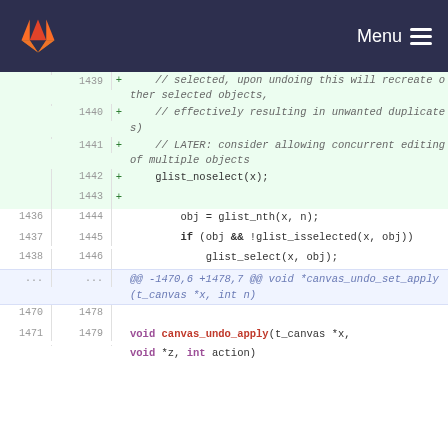GitLab navigation bar with Menu
[Figure (screenshot): GitLab diff view showing code changes around lines 1439-1479, with added lines (green background) showing comment about selected objects and glist_noselect(x), and context lines showing obj = glist_nth, if (obj && !glist_isselected), glist_select, and void canvas_undo_apply function signature.]